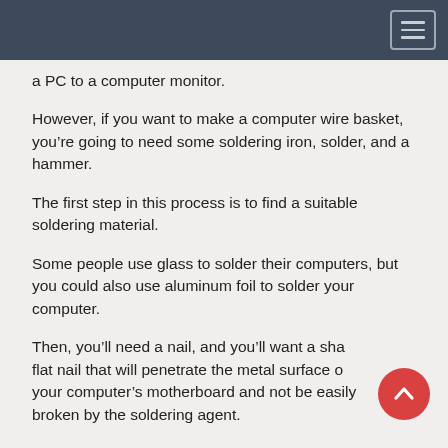a PC to a computer monitor.
However, if you want to make a computer wire basket, you’re going to need some soldering iron, solder, and a hammer.
The first step in this process is to find a suitable soldering material.
Some people use glass to solder their computers, but you could also use aluminum foil to solder your computer.
Then, you’ll need a nail, and you’ll want a sharp flat nail that will penetrate the metal surface of your computer’s motherboard and not be easily broken by the soldering agent.